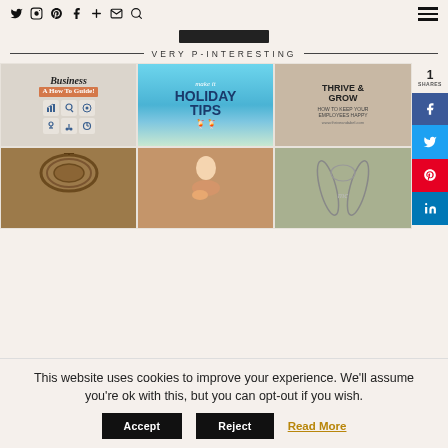Social nav icons: Twitter, Instagram, Pinterest, Facebook, Plus, Email, Search, Hamburger menu
[Figure (other): Dark rectangular advertisement placeholder banner]
VERY P-INTERESTING
[Figure (photo): Pinterest grid of 6 images: Business how-to guide with blocks/icons, Holiday Tips with tropical drinks, Thrive & Grow employee happiness graphic, rattan hanging chair, baby being held, silver leaf table setting. Side share buttons for Facebook, Twitter, Pinterest, LinkedIn showing 1 share.]
This website uses cookies to improve your experience. We'll assume you're ok with this, but you can opt-out if you wish.
Accept  Reject  Read More